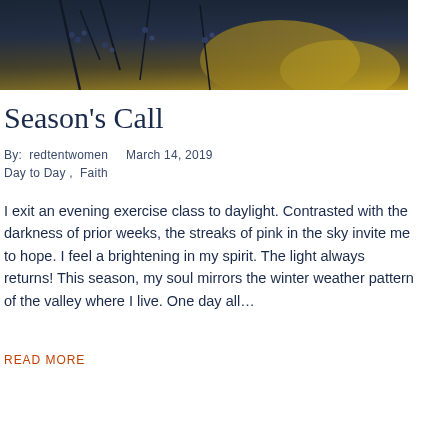[Figure (photo): Decorative hero image showing dark branches with berries against a yellow/golden background — nature photography in dark blue and gold tones]
Season's Call
By:  redtentwomen     March 14, 2019
Day to Day ,  Faith
I exit an evening exercise class to daylight. Contrasted with the darkness of prior weeks, the streaks of pink in the sky invite me to hope. I feel a brightening in my spirit. The light always returns! This season, my soul mirrors the winter weather pattern of the valley where I live. One day all…
READ MORE